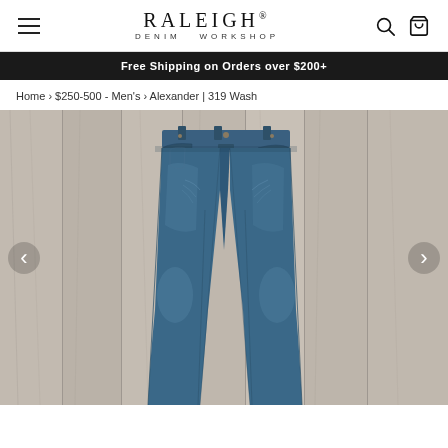RALEIGH® DENIM WORKSHOP
Free Shipping on Orders over $200+
Home › $250-500 - Men's › Alexander | 319 Wash
[Figure (photo): Product photo of Raleigh Denim Workshop Alexander 319 Wash jeans laid flat on a light wood plank background. The jeans are dark blue denim with visible fading and wear patterns, a straight/tapered fit.]